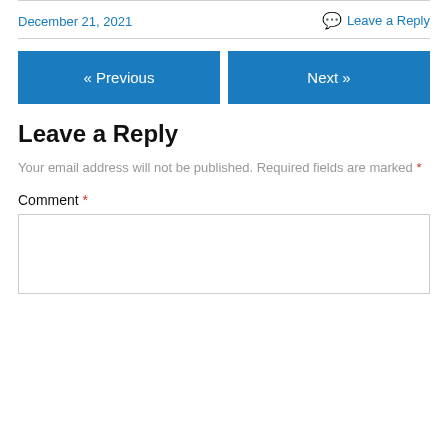December 21, 2021
💬 Leave a Reply
« Previous
Next »
Leave a Reply
Your email address will not be published. Required fields are marked *
Comment *